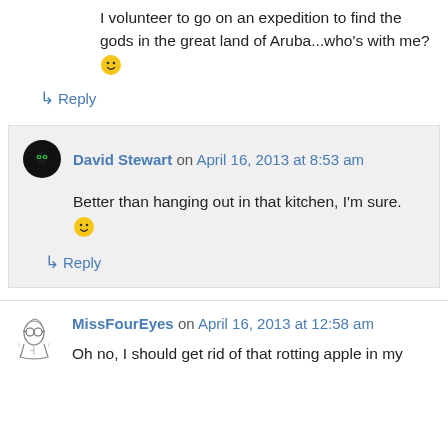I volunteer to go on an expedition to find the gods in the great land of Aruba...who's with me? 🙂
↳ Reply
David Stewart on April 16, 2013 at 8:53 am
Better than hanging out in that kitchen, I'm sure. 🙂
↳ Reply
MissFourEyes on April 16, 2013 at 12:58 am
Oh no, I should get rid of that rotting apple in my